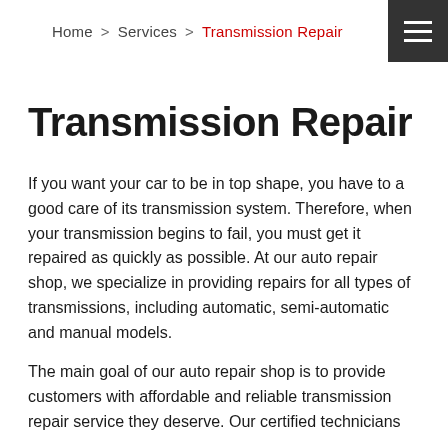Home > Services > Transmission Repair
Transmission Repair
If you want your car to be in top shape, you have to a good care of its transmission system. Therefore, when your transmission begins to fail, you must get it repaired as quickly as possible. At our auto repair shop, we specialize in providing repairs for all types of transmissions, including automatic, semi-automatic and manual models.
The main goal of our auto repair shop is to provide customers with affordable and reliable transmission repair service they deserve. Our certified technicians